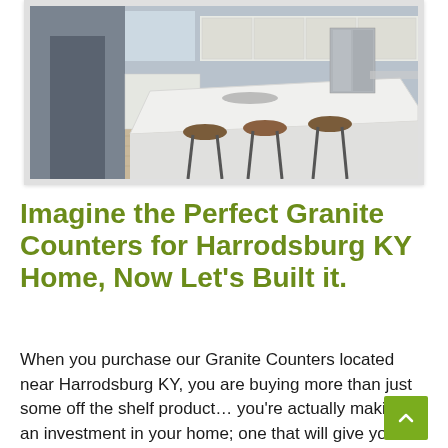[Figure (photo): Photo of a modern kitchen with white cabinets, a large white marble island countertop, wooden bar stools, and stainless steel appliances. The flooring is light hardwood.]
Imagine the Perfect Granite Counters for Harrodsburg KY Home, Now Let's Built it.
When you purchase our Granite Counters located near Harrodsburg KY, you are buying more than just some off the shelf product… you're actually making an investment in your home; one that will give you quality and durability for years to come. Located near Harrodsburg KY, We are a full service Company that manufactures top quality products with pride and